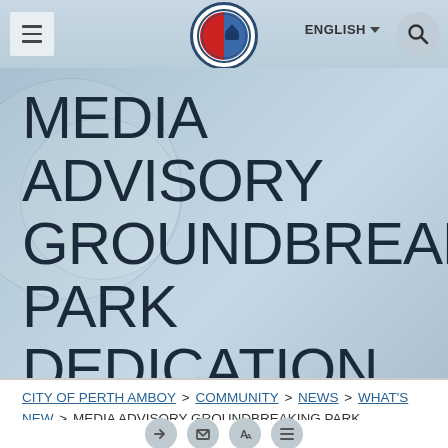≡  ENGLISH ▼  🔍
[Figure (logo): City of Perth Amboy circular seal/logo in blue and red]
MEDIA ADVISORY GROUNDBREAKING PARK DEDICATION
CITY OF PERTH AMBOY > COMMUNITY > NEWS > WHAT'S NEW > MEDIA ADVISORY GROUNDBREAKING PARK DEDICATION